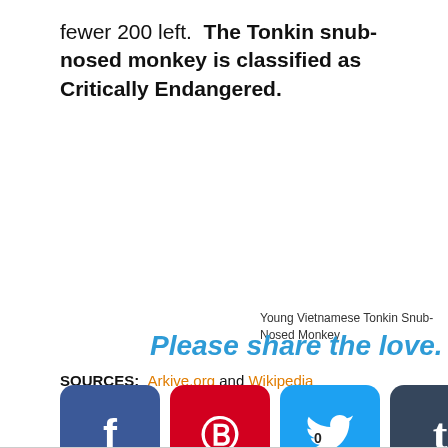fewer 200 left. The Tonkin snub-nosed monkey is classified as Critically Endangered.
Young Vietnamese Tonkin Snub-Nosed Monkey
Please share the love.
SOURCES: Arkive.org and Wikipedia
[Figure (infographic): Social sharing buttons: Facebook, Pinterest, Twitter, Tumblr, LinkedIn with a count of 0 under Twitter]
0